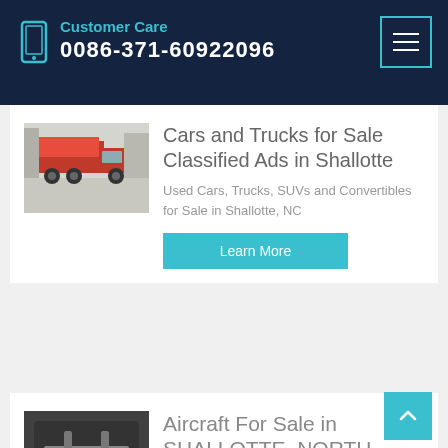Customer Care 0086-371-60922096
Cars and Trucks for Sale Classified Ads in Shallotte
Used Cars, Trucks, SUVs and Convertibles for Sale in Shallotte, NC
Learn More
Aircraft For Sale in SHALLOTTE, NORTH CAROLINA - 70
Aircraft For Sale in SHALLOTTE,